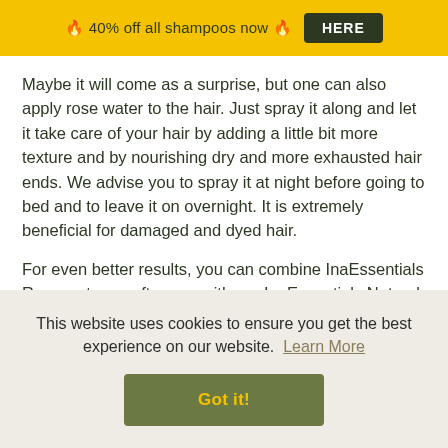🔥 40% off all shampoos now 🔥  HERE
Maybe it will come as a surprise, but one can also apply rose water to the hair. Just spray it along and let it take care of your hair by adding a little bit more texture and by nourishing dry and more exhausted hair ends. We advise you to spray it at night before going to bed and to leave it on overnight. It is extremely beneficial for damaged and dyed hair.
For even better results, you can combine InaEssentials Rose water as aftercare with our InaEssentials Natural
This website uses cookies to ensure you get the best experience on our website.  Learn More
Got it!